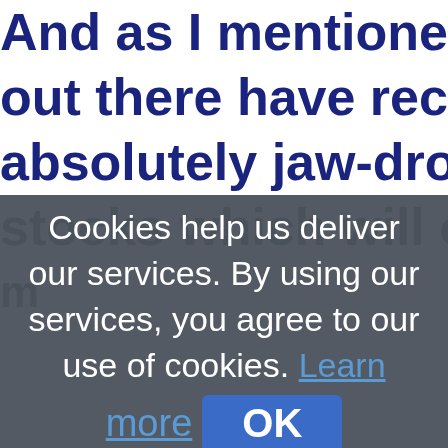And as I mentioned above, some out there have recently made so absolutely jaw-dropping bets aga stocks which will only pay off if th
Cookies help us deliver our services. By using our services, you agree to our use of cookies. Learn more
OK